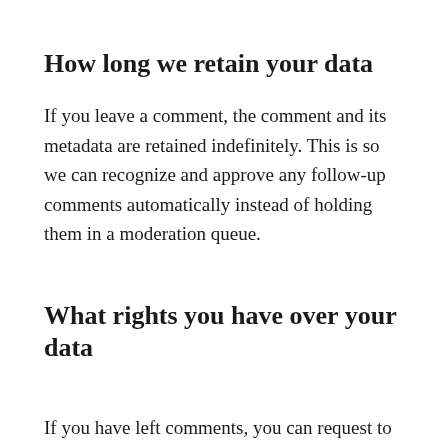How long we retain your data
If you leave a comment, the comment and its metadata are retained indefinitely. This is so we can recognize and approve any follow-up comments automatically instead of holding them in a moderation queue.
What rights you have over your data
If you have left comments, you can request to receive an exported file of the personal data we